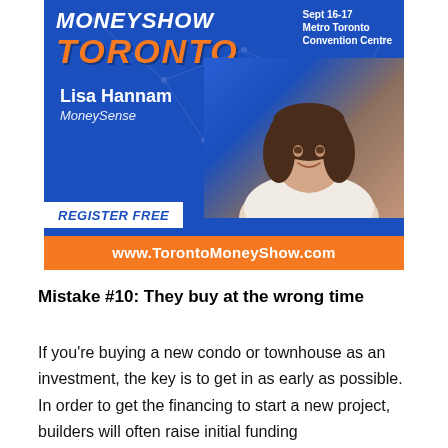[Figure (advertisement): MoneyShow Toronto advertisement banner featuring Lisa Hannam from MoneySense. Blue background with orange Toronto text, register free call to action, and website URL www.TorontoMoneyShow.com]
Mistake #10: They buy at the wrong time
If you're buying a new condo or townhouse as an investment, the key is to get in as early as possible. In order to get the financing to start a new project, builders will often raise initial funding